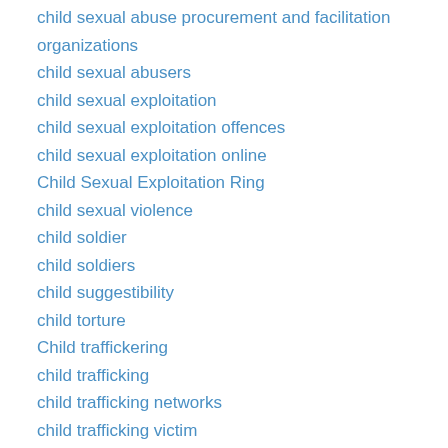child sexual abuse procurement and facilitation organizations
child sexual abusers
child sexual exploitation
child sexual exploitation offences
child sexual exploitation online
Child Sexual Exploitation Ring
child sexual violence
child soldier
child soldiers
child suggestibility
child torture
Child traffickering
child trafficking
child trafficking networks
child trafficking victim
child victimization
Child Victims Act
child voodoo victims
child welfare authorities
child welfare funding